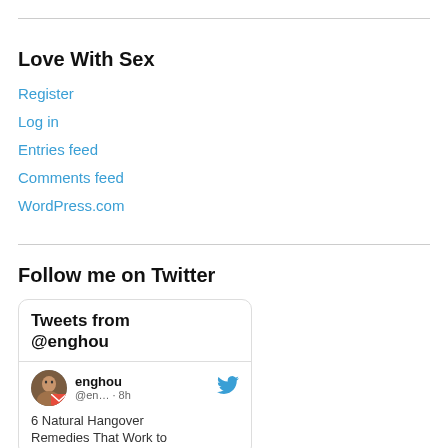Love With Sex
Register
Log in
Entries feed
Comments feed
WordPress.com
Follow me on Twitter
[Figure (screenshot): Twitter widget showing tweets from @enghou. Header reads 'Tweets from @enghou'. Below is a tweet from user 'enghou' (@en…) posted 8h ago with text '6 Natural Hangover Remedies That Work to...']